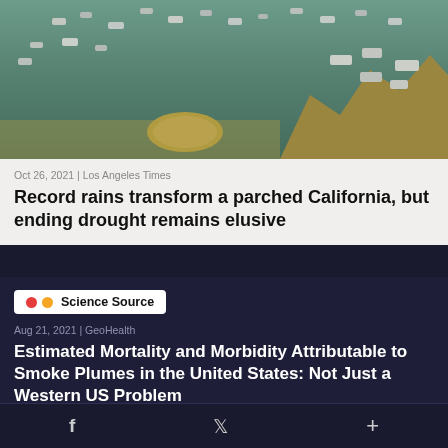[Figure (photo): Aerial view of a drought-affected lake with many boats and houseboats scattered on low water, brown sandy areas visible including a prominent circular island/sandbar, with dry golden hills in the background.]
Oct 26, 2021 | Los Angeles Times
Record rains transform a parched California, but ending drought remains elusive
[Figure (logo): Science Source badge with two colored dots (red and orange) and the text 'Science Source']
Aug 21, 2021 | GeoHealth
Estimated Mortality and Morbidity Attributable to Smoke Plumes in the United States: Not Just a Western US Problem
f   𝕏   +